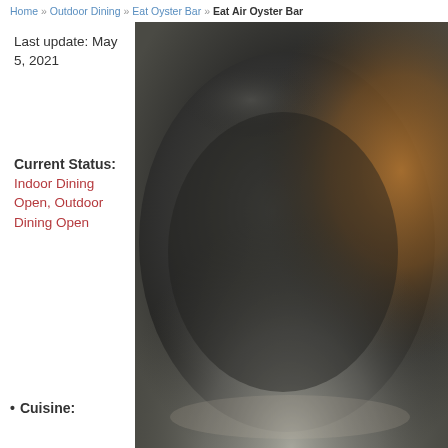Home » Outdoor Dining » Eat Oyster Bar » Eat Air Oyster Bar
Last update: May 5, 2021
Current Status: Indoor Dining Open, Outdoor Dining Open
Cuisine:
[Figure (photo): Dark atmospheric photo of what appears to be a round/oval dish or oyster shell viewed from above, with dark charcoal tones and warm amber/orange highlights on the right side, and light gray tones at the bottom.]